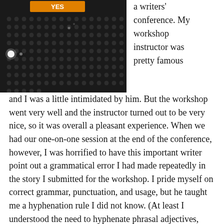[Figure (photo): Close-up photograph of a dark electronic device or equipment with a perforated metal grid/mesh surface. The device has an orange-lit label at the top and a bright white LED or light visible on the left side.]
a writers' conference. My workshop instructor was pretty famous
and I was a little intimidated by him. But the workshop went very well and the instructor turned out to be very nice, so it was overall a pleasant experience. When we had our one-on-one session at the end of the conference, however, I was horrified to have this important writer point out a grammatical error I had made repeatedly in the story I submitted for the workshop. I pride myself on correct grammar, punctuation, and usage, but he taught me a hyphenation rule I did not know. (At least I understood the need to hyphenate phrasal adjectives, which many writers seem to overlook.)
Here's the rule I didn't know, as quoted from Garner's